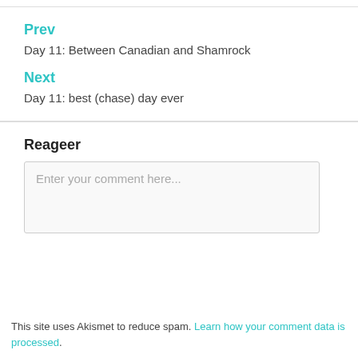Prev
Day 11: Between Canadian and Shamrock
Next
Day 11: best (chase) day ever
Reageer
Enter your comment here...
This site uses Akismet to reduce spam. Learn how your comment data is processed.